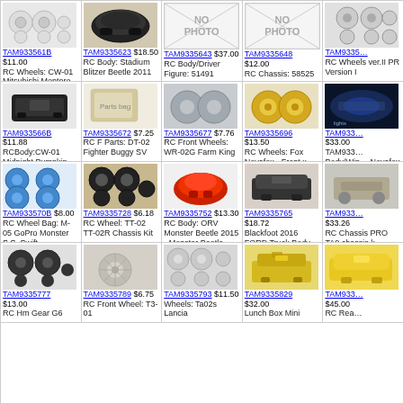| TAM933561B $11.00 RC Wheels: CW-01 Mitsubishi Montero Wheelie | TAM9335623 $18.50 RC Body: Stadium Blitzer Beetle 2011 | TAM9335643 $37.00 RC Body/Driver Figure: 51491 | TAM9335648 $12.00 RC Chassis: 58525 | TAM933... RC Wheels ver.II PR Version I |
| TAM933566B $11.88 RCBody:CW-01 Midnight Pumpkin Black Edition-Black | TAM9335672 $7.25 RC F Parts: DT-02 Fighter Buggy SV | TAM9335677 $7.76 RC Front Wheels: WR-02G Farm King | TAM9335696 $13.50 RC Wheels: Fox Novafox - Front x 2/Rear x 2 | TAM933... $33.00 TAM933... Body/Win... Novafox |
| TAM933570B $8.00 RC Wheel Bag: M-05 GoPro Monster S.S. Swift | TAM9335728 $6.18 RC Wheel: TT-02 TT-02R Chassis Kit | TAM9335752 $13.30 RC Body: ORV Monster Beetle 2015 - Monster Beetle | TAM9335765 $18.72 Blackfoot 2016 FORD Truck Body Shell: ORV Blackfoot 2016 | TAM933... $33.26 RC Chassis PRO TA0 chassis k... |
| TAM9335777 $13.00 RC Hm Gear G6 | TAM9335789 $6.75 RC Front Wheel: T3-01 | TAM9335793 $11.50 Wheels: Ta02s Lancia | TAM9335829 $32.00 Lunch Box Mini | TAM933... $45.00 RC Rea... |